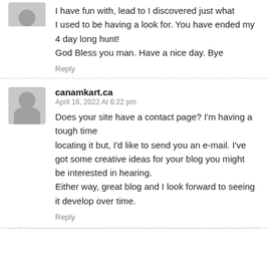[Figure (illustration): Partial avatar icon (top cropped) showing a gray silhouette placeholder]
I have fun with, lead to I discovered just what I used to be having a look for. You have ended my 4 day long hunt!
God Bless you man. Have a nice day. Bye
Reply
[Figure (illustration): Full avatar icon showing a gray silhouette placeholder with head and shoulders]
canamkart.ca
April 16, 2022 At 6:22 pm
Does your site have a contact page? I'm having a tough time locating it but, I'd like to send you an e-mail. I've got some creative ideas for your blog you might be interested in hearing.
Either way, great blog and I look forward to seeing it develop over time.
Reply